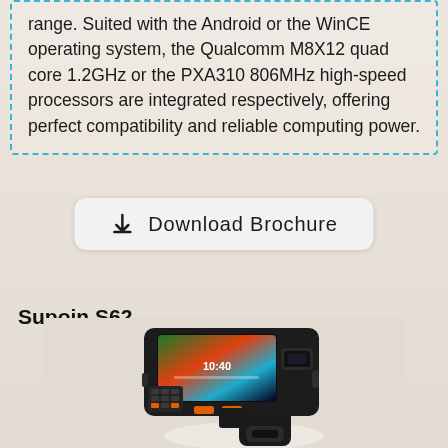range. Suited with the Android or the WinCE operating system, the Qualcomm M8X12 quad core 1.2GHz or the PXA310 806MHz high-speed processors are integrated respectively, offering perfect compatibility and reliable computing power.
Download Brochure
Supoin S62
[Figure (photo): Photo of Supoin S62 handheld barcode scanner / mobile computer device with a large touchscreen display showing a colorful Android interface, physical keyboard buttons, orange trigger buttons, and a pistol-grip handle with RFID reader at the bottom.]